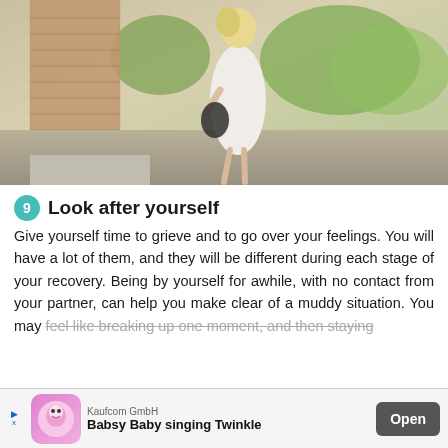[Figure (photo): A blonde woman in a white sleeveless dress holding a dark jacket, standing outdoors near a brick building with green plants and a pathway in the background.]
9 Look after yourself
Give yourself time to grieve and to go over your feelings. You will have a lot of them, and they will be different during each stage of your recovery. Being by yourself for awhile, with no contact from your partner, can help you make clear of a muddy situation. You may feel like breaking up one moment, and then staying
[Figure (screenshot): Advertisement banner for Kaufcom GmbH — Babsy Baby singing Twinkle app with Open button.]